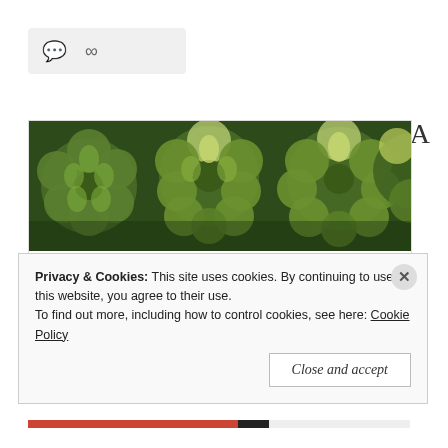[Figure (screenshot): Toolbar with comment bubble icon and share/link icon on light grey background]
[Figure (photo): Banner photo of green succulent plants close-up]
10 Steps To A More Blissful Week
LESSONS IN WHAT NOT TO DO FROM A HOT MESS MOM
Privacy & Cookies: This site uses cookies. By continuing to use this website, you agree to their use. To find out more, including how to control cookies, see here: Cookie Policy
Close and accept